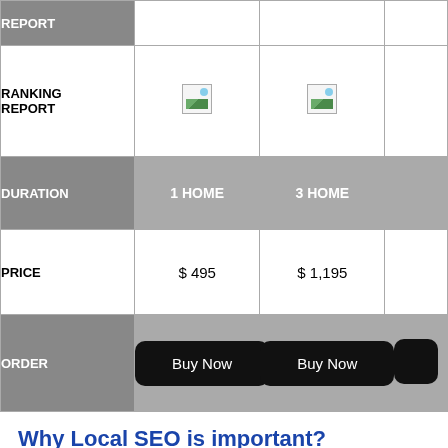|  | 1 HOME | 3 HOME |  |
| --- | --- | --- | --- |
| REPORT |  |  |  |
| RANKING REPORT | [image] | [image] |  |
| DURATION | 1 HOME | 3 HOME |  |
| PRICE | $ 495 | $ 1,195 |  |
| ORDER | Buy Now | Buy Now | Buy Now |
Why Local SEO is important?
Do you sell products or offer services that require your